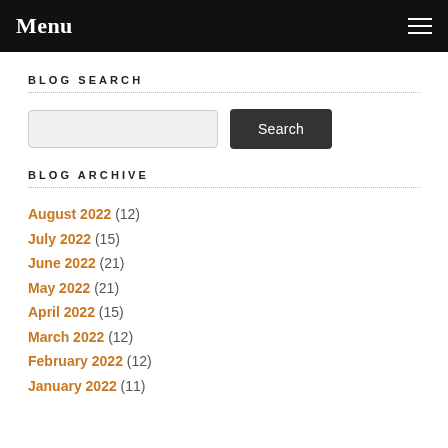Menu
BLOG SEARCH
BLOG ARCHIVE
August 2022 (12)
July 2022 (15)
June 2022 (21)
May 2022 (21)
April 2022 (15)
March 2022 (12)
February 2022 (12)
January 2022 (11)